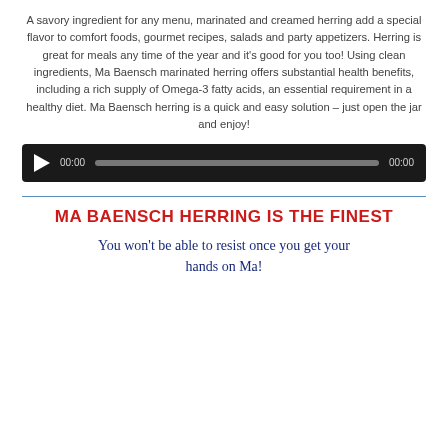A savory ingredient for any menu, marinated and creamed herring add a special flavor to comfort foods, gourmet recipes, salads and party appetizers. Herring is great for meals any time of the year and it's good for you too! Using clean ingredients, Ma Baensch marinated herring offers substantial health benefits, including a rich supply of Omega-3 fatty acids, an essential requirement in a healthy diet. Ma Baensch herring is a quick and easy solution – just open the jar and enjoy!
[Figure (other): Audio/video media player bar with play button, start time 00:00, progress bar, and end time 00:00 on a dark background.]
MA BAENSCH HERRING IS THE FINEST
You won't be able to resist once you get your hands on Ma!